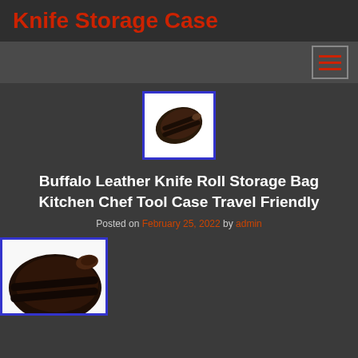Knife Storage Case
[Figure (screenshot): Hamburger menu icon with three horizontal red lines on dark background]
[Figure (photo): Buffalo leather knife roll storage bag, rolled up with buckle straps, on white background]
Buffalo Leather Knife Roll Storage Bag Kitchen Chef Tool Case Travel Friendly
Posted on February 25, 2022 by admin
[Figure (photo): Close-up of buffalo leather knife roll storage bag with buckle straps, partially visible]